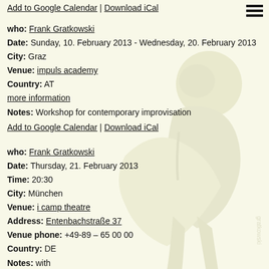Add to Google Calendar | Download iCal
who: Frank Gratkowski
Date: Sunday, 10. February 2013 - Wednesday, 20. February 2013
City: Graz
Venue: impuls academy
Country: AT
more information
Notes: Workshop for contemporary improvisation
Add to Google Calendar | Download iCal
who: Frank Gratkowski
Date: Thursday, 21. February 2013
Time: 20:30
City: München
Venue: i camp theatre
Address: Entenbachstraße 37
Venue phone: +49-89 – 65 00 00
Country: DE
Notes: with